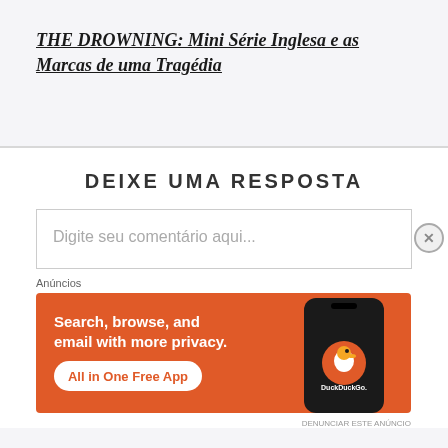THE DROWNING: Mini Série Inglesa e as Marcas de uma Tragédia
DEIXE UMA RESPOSTA
Digite seu comentário aqui...
[Figure (screenshot): DuckDuckGo advertisement banner with orange background, text 'Search, browse, and email with more privacy. All in One Free App' and phone mockup with DuckDuckGo logo]
Anúncios